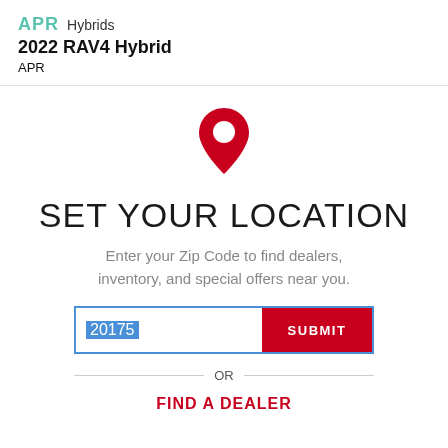APR Hybrids
2022 RAV4 Hybrid
APR
[Figure (illustration): Red map pin / location marker icon]
SET YOUR LOCATION
Enter your Zip Code to find dealers, inventory, and special offers near you.
20175 SUBMIT
OR
FIND A DEALER